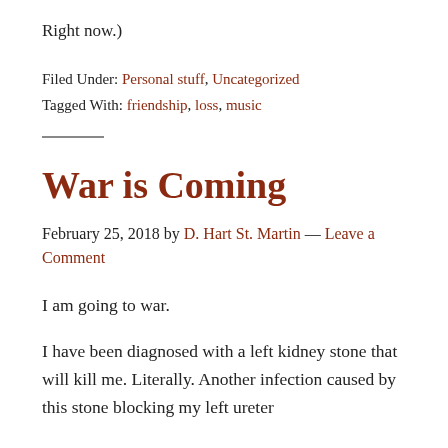Right now.)
Filed Under: Personal stuff, Uncategorized
Tagged With: friendship, loss, music
War is Coming
February 25, 2018 by D. Hart St. Martin — Leave a Comment
I am going to war.
I have been diagnosed with a left kidney stone that will kill me. Literally. Another infection caused by this stone blocking my left ureter